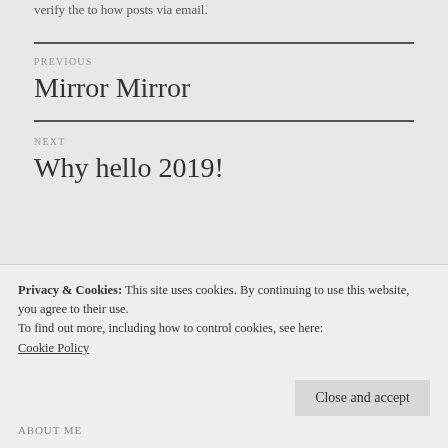verify the to how posts via email.
PREVIOUS
Mirror Mirror
NEXT
Why hello 2019!
Privacy & Cookies: This site uses cookies. By continuing to use this website, you agree to their use.
To find out more, including how to control cookies, see here: Cookie Policy
Close and accept
ABOUT ME